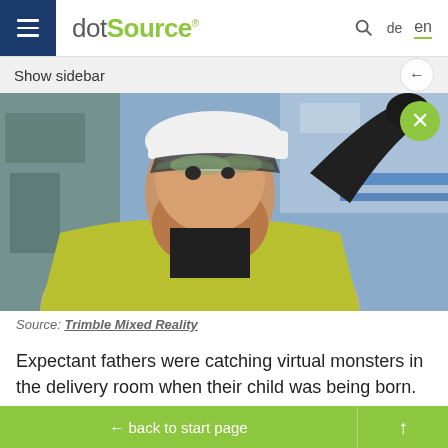dot.Source® | de | en
Show sidebar
[Figure (photo): Man wearing AR/mixed reality headset and safety vest (high-visibility yellow), looking up in an industrial setting. He has a beard and is wearing a hard hat.]
Source: Trimble Mixed Reality
Expectant fathers were catching virtual monsters in the delivery room when their child was being born. That
← back to start page | ↑